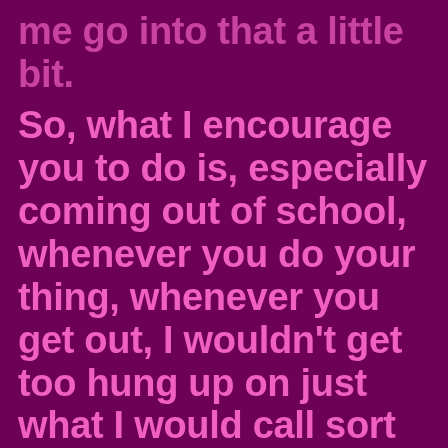me go into that a little bit.
So, what I encourage you to do is, especially coming out of school, whenever you do your thing, whenever you get out, I wouldn't get too hung up on just what I would call sort of surface level things. And what I mean by that is your title, or where you work, or your salary or that kind of thing. I